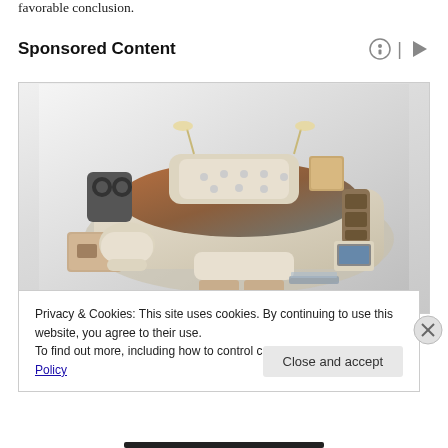favorable conclusion.
Sponsored Content
[Figure (photo): A luxury multi-functional bed with built-in speakers, storage drawers, reading lamps, a recliner chair attachment, and a laptop stand. The bed is cream/beige colored with warm brown bedding. Various compartments are open showing storage. A small laptop sits on the right side.]
Privacy & Cookies: This site uses cookies. By continuing to use this website, you agree to their use.
To find out more, including how to control cookies, see here: Cookie Policy
Close and accept